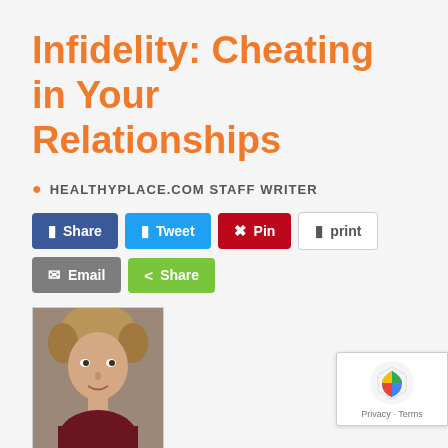Infidelity: Cheating in Your Relationships
HEALTHYPLACE.COM STAFF WRITER
[Figure (infographic): Social sharing buttons: Share (Facebook), Tweet (Twitter), Pin (Pinterest), print, Email, Share (green)]
[Figure (photo): Author photo of Elissa Gough, a woman with blonde hair wearing a dark red top]
Elissa Gough, has experienced the addictiveness and excitement that affairs have to offer, as well as the turmoil. She joined us to answer your questions ab infidelity and how to deal with cheating in your